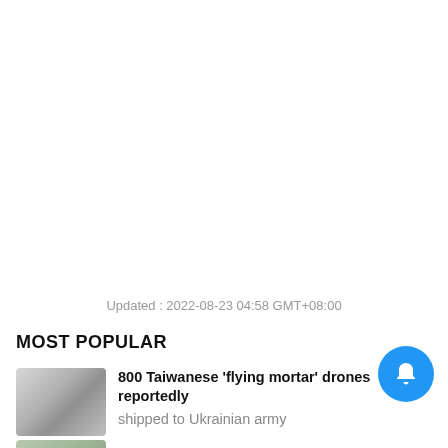Updated : 2022-08-23 04:58 GMT+08:00
MOST POPULAR
[Figure (photo): Thumbnail image of a drone, dark silhouette against light background]
800 Taiwanese 'flying mortar' drones reportedly shipped to Ukrainian army
[Figure (photo): Thumbnail image, partially visible, green/grey tones]
[Figure (other): Blue circular notification bell button]